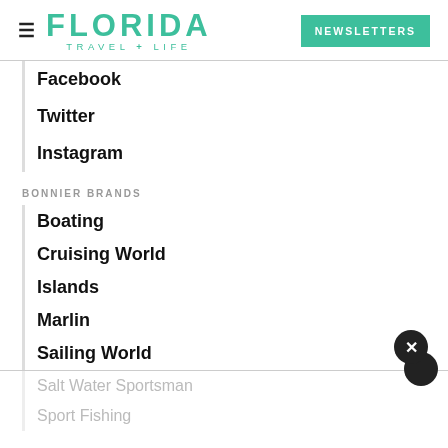FLORIDA TRAVEL + LIFE | NEWSLETTERS
Facebook
Twitter
Instagram
BONNIER BRANDS
Boating
Cruising World
Islands
Marlin
Sailing World
Salt Water Sportsman
Sport Fishing